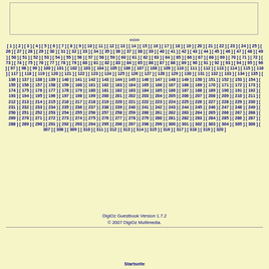<>
[ 1 ] [ 2 ] [ 3 ] [ 4 ] [ 5 ] [ 6 ] [ 7 ] [ 8 ] [ 9 ] [ 10 ] [ 11 ] [ 12 ] [ 13 ] [ 14 ] [ 15 ] [ 16 ] [ 17 ] [ 18 ] [ 19 ] [ 20 ] [ 21 ] [ 22 ] [ 23 ] [ 24 ] [ 25 ] [ 26 ] [ 27 ] [ 28 ] [ 29 ] [ 30 ] [ 31 ] [ 32 ] [ 33 ] [ 34 ] [ 35 ] [ 36 ] [ 37 ] [ 38 ] [ 39 ] [ 40 ] [ 41 ] [ 42 ] [ 43 ] [ 44 ] [ 45 ] [ 46 ] [ 47 ] [ 48 ] [ 49 ] [ 50 ] [ 51 ] [ 52 ] [ 53 ] [ 54 ] [ 55 ] [ 56 ] [ 57 ] [ 58 ] [ 59 ] [ 60 ] [ 61 ] [ 62 ] [ 63 ] [ 64 ] [ 65 ] [ 66 ] [ 67 ] [ 68 ] [ 69 ] [ 70 ] [ 71 ] [ 72 ] [ 73 ] [ 74 ] [ 75 ] [ 76 ] [ 77 ] [ 78 ] [ 79 ] [ 80 ] [ 81 ] [ 82 ] [ 83 ] [ 84 ] [ 85 ] [ 86 ] [ 87 ] [ 88 ] [ 89 ] [ 90 ] [ 91 ] [ 92 ] [ 93 ] [ 94 ] [ 95 ] [ 96 ] [ 97 ] [ 98 ] [ 99 ] [ 100 ] [ 101 ] [ 102 ] [ 103 ] [ 104 ] [ 105 ] [ 106 ] [ 107 ] [ 108 ] [ 109 ] [ 110 ] [ 111 ] [ 112 ] [ 113 ] [ 114 ] [ 115 ] [ 116 ] [ 117 ] [ 118 ] [ 119 ] [ 120 ] [ 121 ] [ 122 ] [ 123 ] [ 124 ] [ 125 ] [ 126 ] [ 127 ] [ 128 ] [ 129 ] [ 130 ] [ 131 ] [ 132 ] [ 133 ] [ 134 ] [ 135 ] [ 136 ] [ 137 ] [ 138 ] [ 139 ] [ 140 ] [ 141 ] [ 142 ] [ 143 ] [ 144 ] [ 145 ] [ 146 ] [ 147 ] [ 148 ] [ 149 ] [ 150 ] [ 151 ] [ 152 ] [ 153 ] [ 154 ] [ 155 ] [ 156 ] [ 157 ] [ 158 ] [ 159 ] [ 160 ] [ 161 ] [ 162 ] [ 163 ] [ 164 ] [ 165 ] [ 166 ] [ 167 ] [ 168 ] [ 169 ] [ 170 ] [ 171 ] [ 172 ] [ 173 ] [ 174 ] [ 175 ] [ 176 ] [ 177 ] [ 178 ] [ 179 ] [ 180 ] [ 181 ] [ 182 ] [ 183 ] [ 184 ] [ 185 ] [ 186 ] [ 187 ] [ 188 ] [ 189 ] [ 190 ] [ 191 ] [ 192 ] [ 193 ] [ 194 ] [ 195 ] [ 196 ] [ 197 ] [ 198 ] [ 199 ] [ 200 ] [ 201 ] [ 202 ] [ 203 ] [ 204 ] [ 205 ] [ 206 ] [ 207 ] [ 208 ] [ 209 ] [ 210 ] [ 211 ] [ 212 ] [ 213 ] [ 214 ] [ 215 ] [ 216 ] [ 217 ] [ 218 ] [ 219 ] [ 220 ] [ 221 ] [ 222 ] [ 223 ] [ 224 ] [ 225 ] [ 226 ] [ 227 ] [ 228 ] [ 229 ] [ 230 ] [ 231 ] [ 232 ] [ 233 ] [ 234 ] [ 235 ] [ 236 ] [ 237 ] [ 238 ] [ 239 ] [ 240 ] [ 241 ] [ 242 ] [ 243 ] [ 244 ] [ 245 ] [ 246 ] [ 247 ] [ 248 ] [ 249 ] [ 250 ] [ 251 ] [ 252 ] [ 253 ] [ 254 ] [ 255 ] [ 256 ] [ 257 ] [ 258 ] [ 259 ] [ 260 ] [ 261 ] [ 262 ] [ 263 ] [ 264 ] [ 265 ] [ 266 ] [ 267 ] [ 268 ] [ 269 ] [ 270 ] [ 271 ] [ 272 ] [ 273 ] [ 274 ] [ 275 ] [ 276 ] [ 277 ] [ 278 ] [ 279 ] [ 280 ] [ 281 ] [ 282 ] [ 283 ] [ 284 ] [ 285 ] [ 286 ] [ 287 ] [ 288 ] [ 289 ] [ 290 ] [ 291 ] [ 292 ] [ 293 ] [ 294 ] [ 295 ] [ 296 ] [ 297 ] [ 298 ] [ 299 ] [ 300 ] [ 301 ] [ 302 ] [ 303 ] [ 304 ] [ 305 ] [ 306 ] [ 307 ] [ 308 ] [ 309 ] [ 310 ] [ 311 ] [ 312 ] [ 313 ] [ 314 ] [ 315 ] [ 316 ] [ 317 ] [ 318 ] [ 319 ] [ 320 ]
DigiOz Guestbook Version 1.7.2
© 2007 DigiOz Multimedia.
Startseite